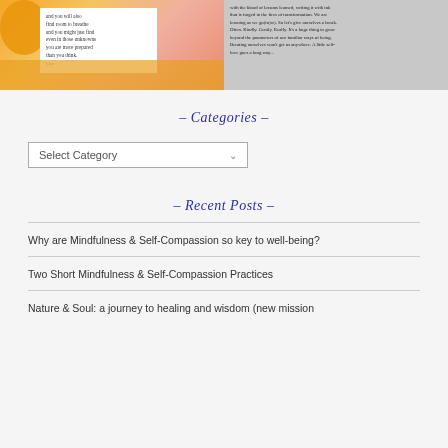[Figure (photo): Two side-by-side social media or blog post images. Left: colorful abstract painting with orange/yellow circles and a white card with inspirational text. Right: gray/blush background with handwritten or printed text about self-compassion and growth.]
- Categories -
Select Category
- Recent Posts -
Why are Mindfulness & Self-Compassion so key to well-being?
Two Short Mindfulness & Self-Compassion Practices
Nature & Soul: a journey to healing and wisdom (new mission